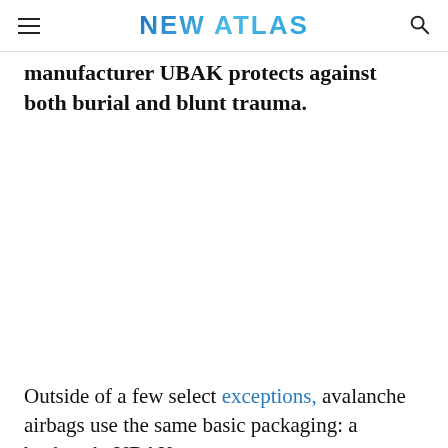NEW ATLAS
manufacturer UBAK protects against both burial and blunt trauma.
[Figure (photo): Empty white area, image not visible in this page crop]
Outside of a few select exceptions, avalanche airbags use the same basic packaging: a backpack. UBAK